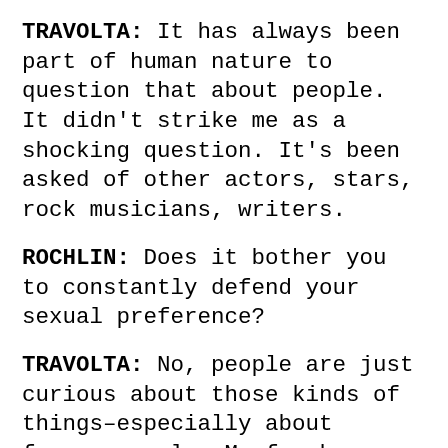TRAVOLTA: It has always been part of human nature to question that about people. It didn't strike me as a shocking question. It's been asked of other actors, stars, rock musicians, writers.
ROCHLIN: Does it bother you to constantly defend your sexual preference?
TRAVOLTA: No, people are just curious about those kinds of things–especially about famous people. My frank response to all sex questions is that there is too much significance put on the subject with Serious note from